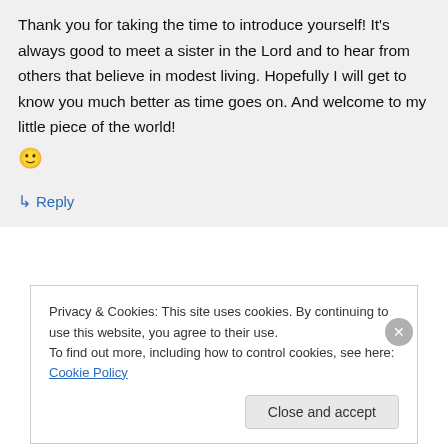Thank you for taking the time to introduce yourself! It's always good to meet a sister in the Lord and to hear from others that believe in modest living. Hopefully I will get to know you much better as time goes on. And welcome to my little piece of the world! 🙂
↳ Reply
Privacy & Cookies: This site uses cookies. By continuing to use this website, you agree to their use.
To find out more, including how to control cookies, see here: Cookie Policy
Close and accept